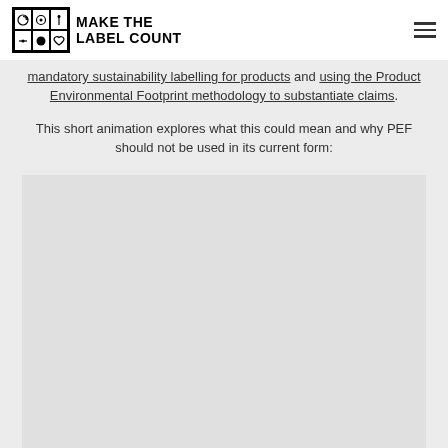MAKE THE LABEL COUNT
mandatory sustainability labelling for products and using the Product Environmental Footprint methodology to substantiate claims.
This short animation explores what this could mean and why PEF should not be used in its current form: